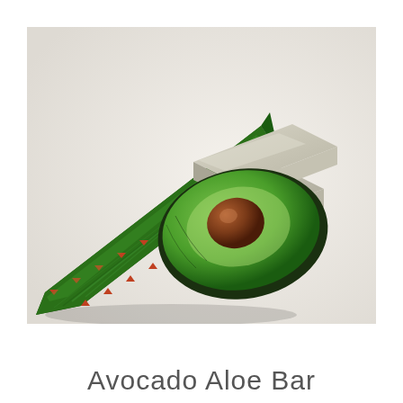[Figure (photo): Photo of an aloe vera leaf, half an avocado with pit visible, and two stacked bars of handmade soap, arranged on a white surface]
Avocado Aloe Bar